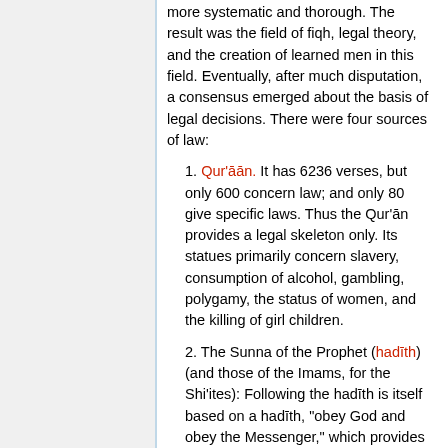more systematic and thorough. The result was the field of fiqh, legal theory, and the creation of learned men in this field. Eventually, after much disputation, a consensus emerged about the basis of legal decisions. There were four sources of law:
1. Qur'ān. It has 6236 verses, but only 600 concern law; and only 80 give specific laws. Thus the Qur'ān provides a legal skeleton only. Its statues primarily concern slavery, consumption of alcohol, gambling, polygamy, the status of women, and the killing of girl children.
2. The Sunna of the Prophet (hadīth) (and those of the Imams, for the Shi'ites): Following the hadīth is itself based on a hadīth, "obey God and obey the Messenger," which provides